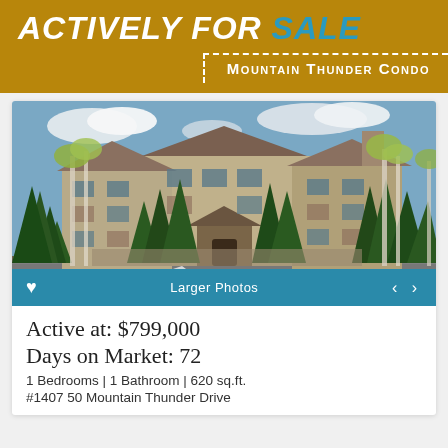ACTIVELY FOR SALE
Mountain Thunder Condo
[Figure (photo): Exterior photo of Mountain Thunder Condo, a multi-story ski lodge style building surrounded by tall evergreen and aspen trees, with a parking lot in front]
Active at: $799,000
Days on Market: 72
1 Bedrooms | 1 Bathroom | 620 sq.ft.
#1407 50 Mountain Thunder Drive